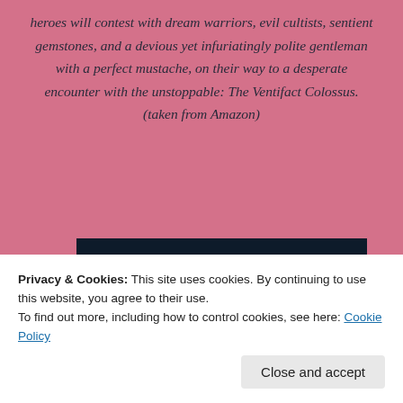heroes will contest with dream warriors, evil cultists, sentient gemstones, and a devious yet infuriatingly polite gentleman with a perfect mustache, on their way to a desperate encounter with the unstoppable: The Ventifact Colossus. (taken from Amazon)
[Figure (screenshot): Partial screenshot of a webpage with dark navy background, a red/pink bar at the bottom left and a light grey semi-circle shape at the bottom right.]
Privacy & Cookies: This site uses cookies. By continuing to use this website, you agree to their use.
To find out more, including how to control cookies, see here: Cookie Policy